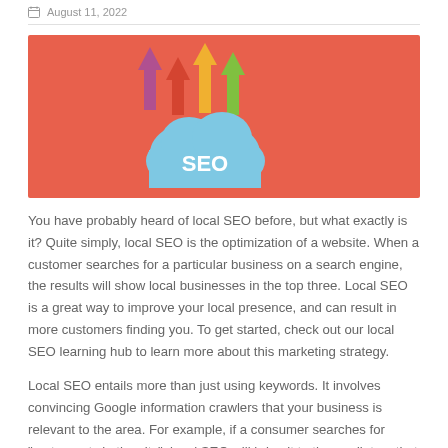August 11, 2022
[Figure (illustration): SEO banner illustration on coral/red background with a blue cloud labeled 'SEO' and colorful upward arrows (purple, orange/red, yellow, green)]
You have probably heard of local SEO before, but what exactly is it? Quite simply, local SEO is the optimization of a website. When a customer searches for a particular business on a search engine, the results will show local businesses in the top three. Local SEO is a great way to improve your local presence, and can result in more customers finding you. To get started, check out our local SEO learning hub to learn more about this marketing strategy.
Local SEO entails more than just using keywords. It involves convincing Google information crawlers that your business is relevant to the area. For example, if a consumer searches for "restaurants in the city", local SEO will bring it to the mediators that are relevant to